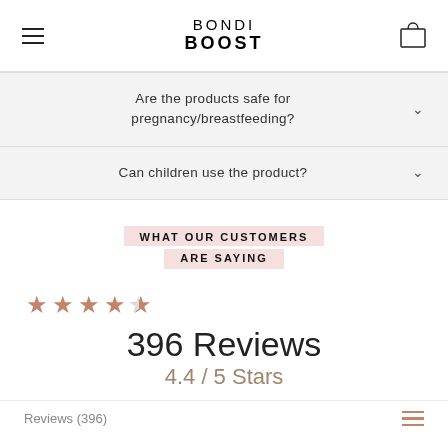BONDI BOOST
Are the products safe for pregnancy/breastfeeding?
Can children use the product?
WHAT OUR CUSTOMERS ARE SAYING
4.4 / 5 Stars — 396 Reviews
Reviews (396)